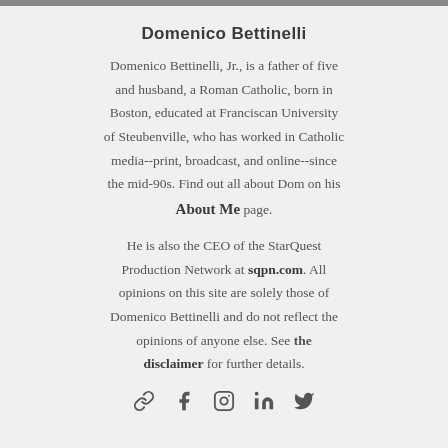Domenico Bettinelli
Domenico Bettinelli, Jr., is a father of five and husband, a Roman Catholic, born in Boston, educated at Franciscan University of Steubenville, who has worked in Catholic media--print, broadcast, and online--since the mid-90s. Find out all about Dom on his About Me page.
He is also the CEO of the StarQuest Production Network at sqpn.com. All opinions on this site are solely those of Domenico Bettinelli and do not reflect the opinions of anyone else. See the disclaimer for further details.
[Figure (infographic): Row of five social media icons: link/chain icon, Facebook, Instagram, LinkedIn, Twitter]